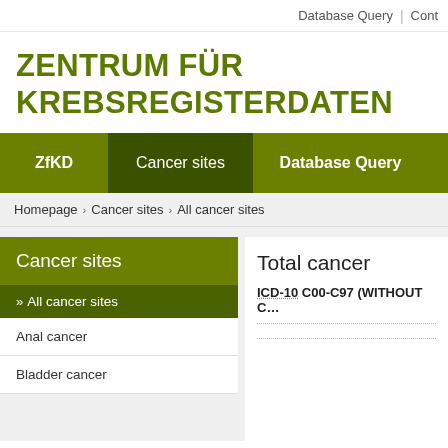Database Query | Cont…
ZENTRUM FÜR KREBSREGISTERDATEN
ZfKD | Cancer sites | Database Query
Homepage › Cancer sites › All cancer sites
Cancer sites
» All cancer sites
Anal cancer
Bladder cancer
Total cancer
ICD-10 C00-C97 (WITHOUT C…